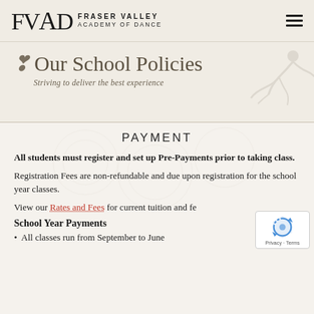FVAD Fraser Valley Academy of Dance
Our School Policies
Striving to deliver the best experience
PAYMENT
All students must register and set up Pre-Payments prior to taking class.
Registration Fees are non-refundable and due upon registration for the school year classes.
View our Rates and Fees for current tuition and fe...
School Year Payments
All classes run from September to June... (cut off)